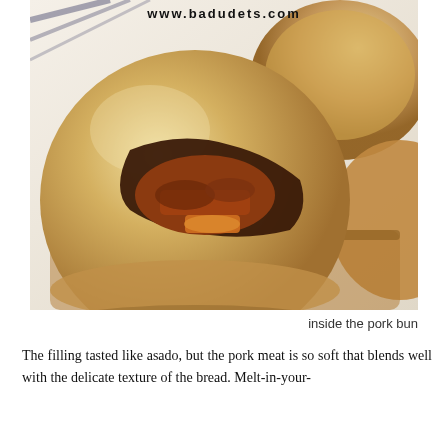www.badudets.com
[Figure (photo): Close-up photograph of a pork bun broken open to reveal its filling of soft asado-style pork meat with a golden-brown glaze, sitting in a basket lined with white cloth. Multiple buns visible in the background.]
inside the pork bun
The filling tasted like asado, but the pork meat is so soft that blends well with the delicate texture of the bread. Melt-in-your-